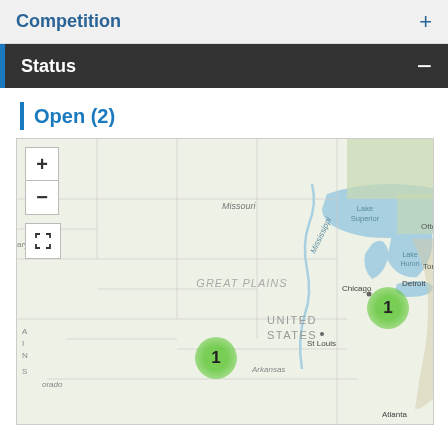Competition
Status
Open (2)
[Figure (map): Interactive map of the United States showing two open competition markers: one near Denver (labeled 1) and one near Detroit (labeled 1). Map includes zoom controls (+/-) and fullscreen button. Geographic labels include Missouri, Mississippi, Great Plains, United States, Lake Superior, Lake Huron, Chicago, Detroit, St Louis, Ohio, Arkansas, Atlanta, Appalachian Mountains, Ottawa, Toronto.]